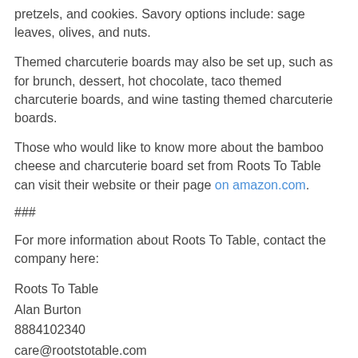pretzels, and cookies. Savory options include: sage leaves, olives, and nuts.
Themed charcuterie boards may also be set up, such as for brunch, dessert, hot chocolate, taco themed charcuterie boards, and wine tasting themed charcuterie boards.
Those who would like to know more about the bamboo cheese and charcuterie board set from Roots To Table can visit their website or their page on amazon.com.
###
For more information about Roots To Table, contact the company here:
Roots To Table
Alan Burton
8884102340
care@rootstotable.com
228 West Oak loop
Cedar Creek Texas